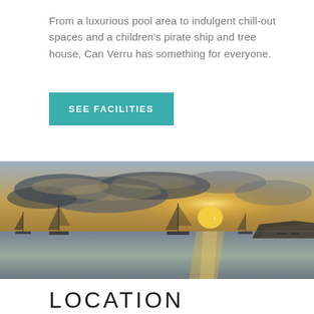From a luxurious pool area to indulgent chill-out spaces and a children's pirate ship and tree house, Can Verru has something for everyone.
SEE FACILITIES
[Figure (photo): Wide panoramic sunset photograph over a calm bay with several sailboats moored on the water, dramatic clouds lit by golden light, and a rocky headland silhouetted on the right horizon.]
LOCATION